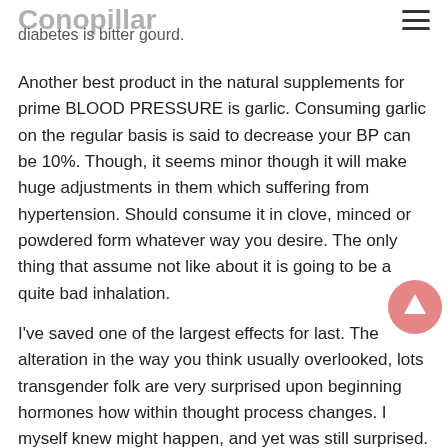Conopillar — diabetes is bitter gourd.
Another best product in the natural supplements for prime BLOOD PRESSURE is garlic. Consuming garlic on the regular basis is said to decrease your BP can be 10%. Though, it seems minor though it will make huge adjustments in them which suffering from hypertension. Should consume it in clove, minced or powdered form whatever way you desire. The only thing that assume not like about it is going to be a quite bad inhalation.
I've saved one of the largest effects for last. The alteration in the way you think usually overlooked, lots transgender folk are very surprised upon beginning hormones how within thought process changes. I myself knew might happen, and yet was still surprised. Only other day I was watching a TV show and I legitimately started bawling. Granted it the sad scene but nonetheless, I generally did not